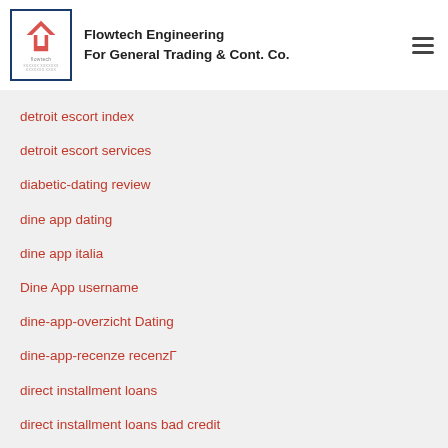[Figure (logo): Flowtech Engineering logo with red chevron/arrow icon and company name]
detroit escort index
detroit escort services
diabetic-dating review
dine app dating
dine app italia
Dine App username
dine-app-overzicht Dating
dine-app-recenze recenzΓ
direct installment loans
direct installment loans bad credit
direct lenders for bad credit personal loans